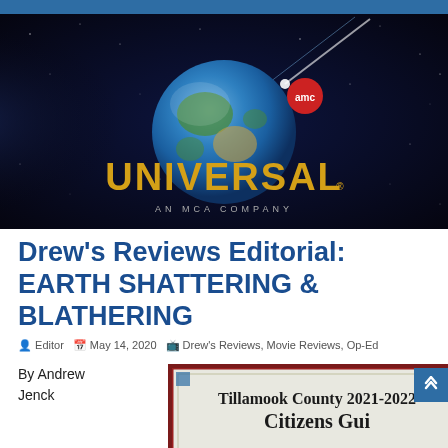[Figure (screenshot): Universal Pictures / AMC logo splash screen showing a globe in space with a comet passing by, text reading 'UNIVERSAL' in gold letters and 'AN MCA COMPANY' below, AMC logo badge visible.]
Drew’s Reviews Editorial: EARTH SHATTERING & BLATHERING
Editor  May 14, 2020  Drew’s Reviews, Movie Reviews, Op-Ed
By Andrew Jenck
[Figure (photo): Tillamook County 2021-2022 Citizens Guide booklet cover, partially visible at the bottom right of the page.]